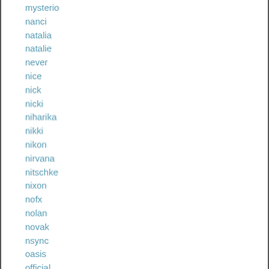mysterio
nanci
natalia
natalie
never
nice
nick
nicki
niharika
nikki
nikon
nirvana
nitschke
nixon
nofx
nolan
novak
nsync
oasis
official
officially
olivia
only
opening